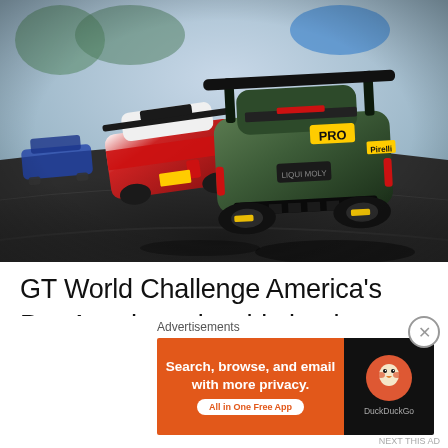[Figure (photo): Racing cars on a track viewed from behind/above, showing a green Porsche GT3 with 'PRO' markings in the foreground and a red/white car behind it, with other cars visible in background, on dark asphalt track]
GT World Challenge America's Pro-Am championship leaders, Martin Fuentes and Rodrigo Baptista, comprise one half of
Advertisements
[Figure (other): DuckDuckGo advertisement banner: orange left section with text 'Search, browse, and email with more privacy. All in One Free App'; black right section with DuckDuckGo logo]